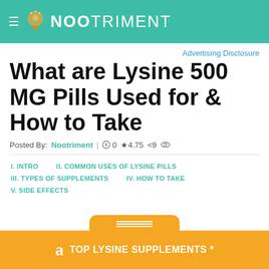NOOTRIMENT
Advertising Disclosure
What are Lysine 500 MG Pills Used for & How to Take
Posted By: Nootriment | 0 ★4.75 <9 👁
I. INTRO
II. COMMON USES OF LYSINE PILLS
III. TYPES OF SUPPLEMENTS
IV. HOW TO TAKE
V. SIDE EFFECTS
TOP LYSINE SUPPLEMENTS *